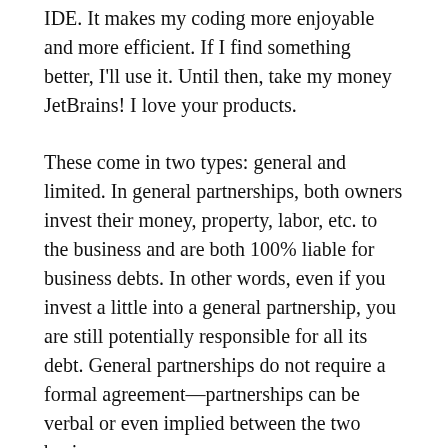IDE. It makes my coding more enjoyable and more efficient. If I find something better, I'll use it. Until then, take my money JetBrains! I love your products.
These come in two types: general and limited. In general partnerships, both owners invest their money, property, labor, etc. to the business and are both 100% liable for business debts. In other words, even if you invest a little into a general partnership, you are still potentially responsible for all its debt. General partnerships do not require a formal agreement—partnerships can be verbal or even implied between the two business owners.